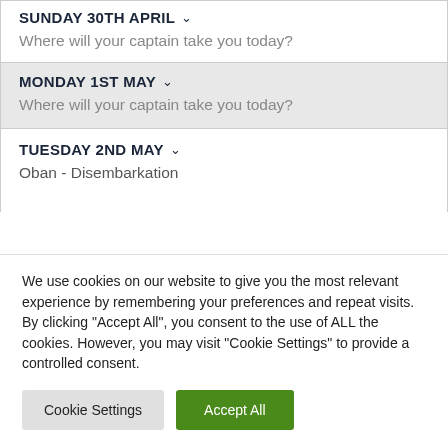SUNDAY 30TH APRIL ∨
Where will your captain take you today?
MONDAY 1ST MAY ∨
Where will your captain take you today?
TUESDAY 2ND MAY ∨
Oban - Disembarkation
We use cookies on our website to give you the most relevant experience by remembering your preferences and repeat visits. By clicking "Accept All", you consent to the use of ALL the cookies. However, you may visit "Cookie Settings" to provide a controlled consent.